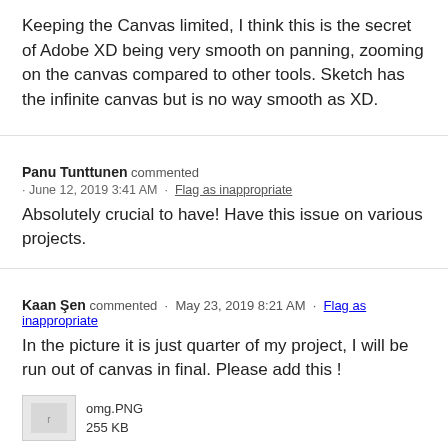Keeping the Canvas limited, I think this is the secret of Adobe XD being very smooth on panning, zooming on the canvas compared to other tools. Sketch has the infinite canvas but is no way smooth as XD.
Panu Tunttunen commented · June 12, 2019 3:41 AM · Flag as inappropriate
Absolutely crucial to have! Have this issue on various projects.
Kaan Şen commented · May 23, 2019 8:21 AM · Flag as inappropriate
In the picture it is just quarter of my project, I will be run out of canvas in final. Please add this !
omg.PNG
255 KB